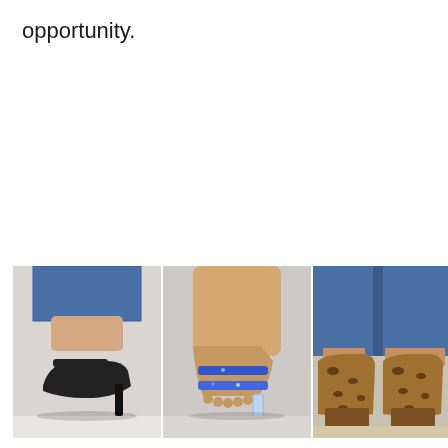opportunity.
[Figure (photo): Advertisement banner showing three shoe product images (high heels) with NINSTREE brand label and ad icons (play and close buttons) on the right side. Left image: black strappy heeled sandal worn with jeans. Middle image: blue/silver clear heeled sandal on bare foot. Right image: leopard print chunky heeled ankle boot worn with jeans.]